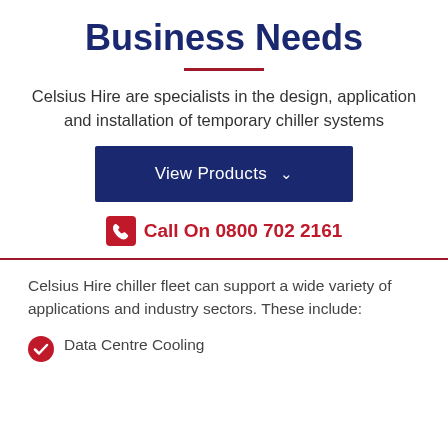Business Needs
Celsius Hire are specialists in the design, application and installation of temporary chiller systems
[Figure (other): Dark navy blue button with text 'View Products' and a downward chevron icon]
Call On 0800 702 2161
Celsius Hire chiller fleet can support a wide variety of applications and industry sectors. These include:
Data Centre Cooling